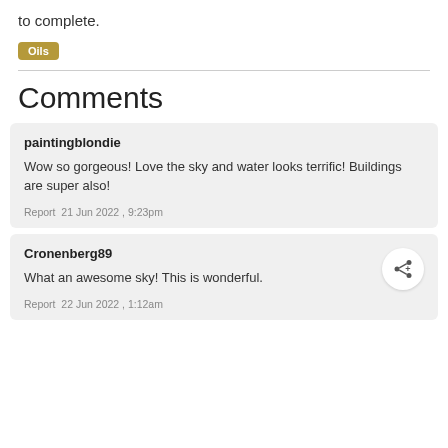to complete.
Oils
Comments
paintingblondie

Wow so gorgeous! Love the sky and water looks terrific! Buildings are super also!

Report  21 Jun 2022 , 9:23pm
Cronenberg89

What an awesome sky! This is wonderful.

Report  22 Jun 2022 , 1:12am